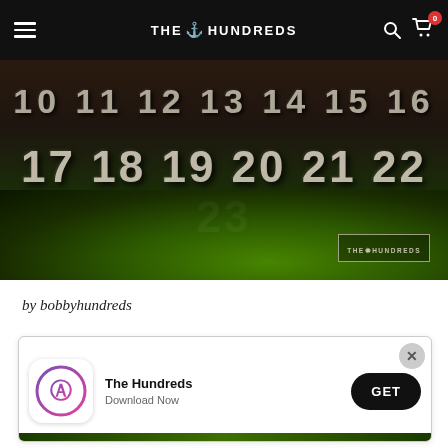THE HUNDREDS
[Figure (photo): Close-up macro photo of embossed/engraved numbers on a dark textured surface with green iridescent material. Numbers 10 11 12 13 14 15 16 on first row and 17 18 19 20 21 22 23 on second row. The Hundreds watermark logo visible in bottom right corner.]
by bobbyhundreds
[Figure (screenshot): App store download banner for 'The Hundreds' app. Shows App Store icon, app name 'The Hundreds', subtitle 'Download Now', and a black GET button. Has an X close button in top right. Green textured background visible at bottom.]